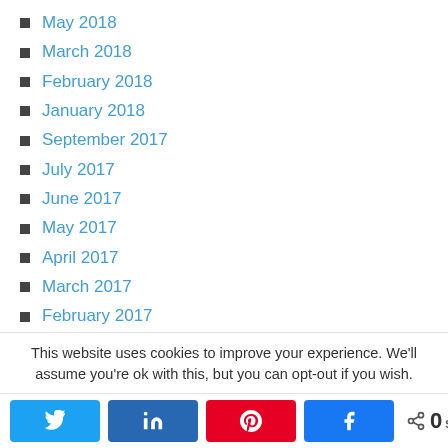May 2018
March 2018
February 2018
January 2018
September 2017
July 2017
June 2017
May 2017
April 2017
March 2017
February 2017
January 2017
December 2016
This website uses cookies to improve your experience. We'll assume you're ok with this, but you can opt-out if you wish.
Share buttons: Twitter, LinkedIn, Pinterest, Facebook | 0 SHARES